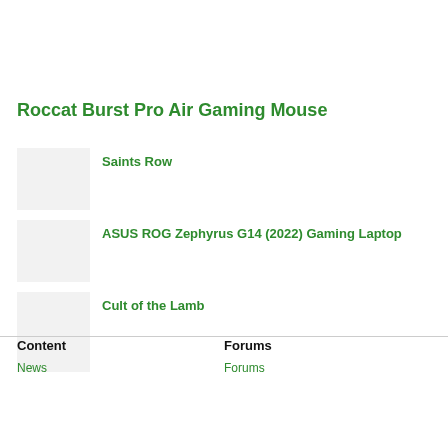Roccat Burst Pro Air Gaming Mouse
Saints Row
ASUS ROG Zephyrus G14 (2022) Gaming Laptop
Cult of the Lamb
Content
News
Forums
Forums